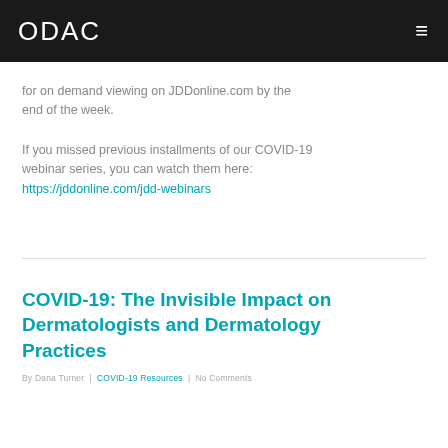ODAC
for on demand viewing on JDDonline.com by the end of the week.
If you missed previous installments of our COVID-19 webinar series, you can watch them here:
https://jddonline.com/jdd-webinars
COVID-19: The Invisible Impact on Dermatologists and Dermatology Practices
By Dana Turner | COVID-19 Resources | No Comments